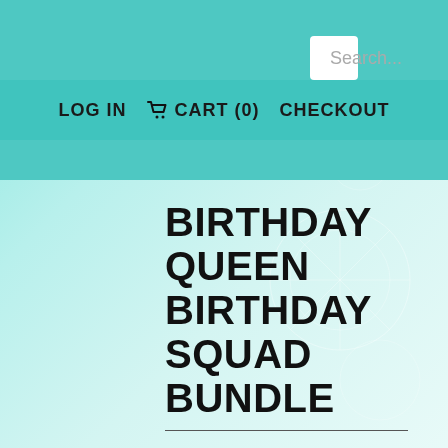Search...
LOG IN  🛒 CART (0)  CHECKOUT
BIRTHDAY QUEEN BIRTHDAY SQUAD BUNDLE
$2.49
OR 4 INTEREST-FREE PAYMENTS OF $0.62 WITH sezzle
ADD TO CART